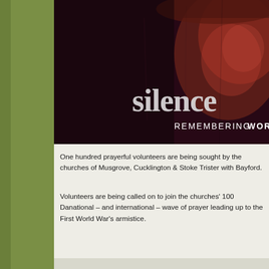[Figure (photo): A close-up photograph of an elderly soldier wearing a hat, face weathered, with dramatic dark red/purple lighting. Large white bold text reads 'silence' and below it 'REMEMBERING WOR' (text cut off at right edge). This is a WWI centenary remembrance image.]
One hundred prayerful volunteers are being sought by the churches of Musgrove, Cucklington & Stoke Trister with Bayford.
Volunteers are being called on to join the churches' 100 Days of Prayer national – and international – wave of prayer leading up to the centenary of the First World War's armistice.